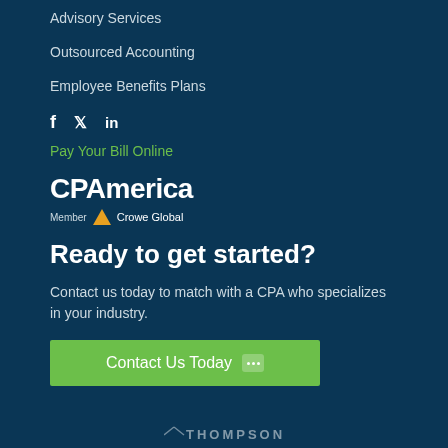Advisory Services
Outsourced Accounting
Employee Benefits Plans
f  𝕏  in
Pay Your Bill Online
[Figure (logo): CPAmerica logo with Member Crowe Global text and triangle icon]
Ready to get started?
Contact us today to match with a CPA who specializes in your industry.
Contact Us Today
THOMPSON